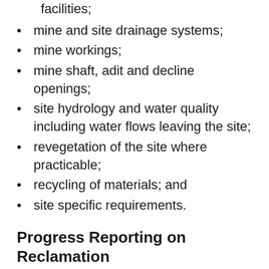sewage and waste disposal areas and facilities;
mine and site drainage systems;
mine workings;
mine shaft, adit and decline openings;
site hydrology and water quality including water flows leaving the site;
revegetation of the site where practicable;
recycling of materials; and
site specific requirements.
Progress Reporting on Reclamation
Status reports on the progress of mine site